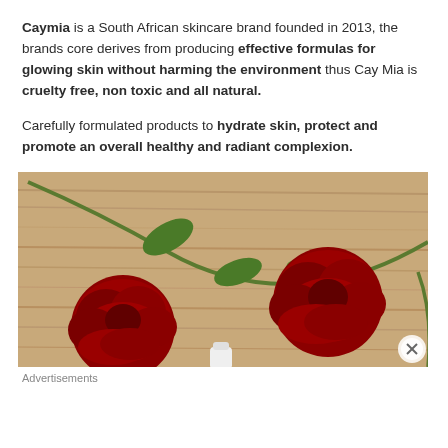Caymia is a South African skincare brand founded in 2013, the brands core derives from producing effective formulas for glowing skin without harming the environment thus Cay Mia is cruelty free, non toxic and all natural.
Carefully formulated products to hydrate skin, protect and promote an overall healthy and radiant complexion.
[Figure (photo): Overhead view of two red roses with stems and leaves laid on a light wood surface, with a small white skincare bottle visible at the bottom center.]
Advertisements